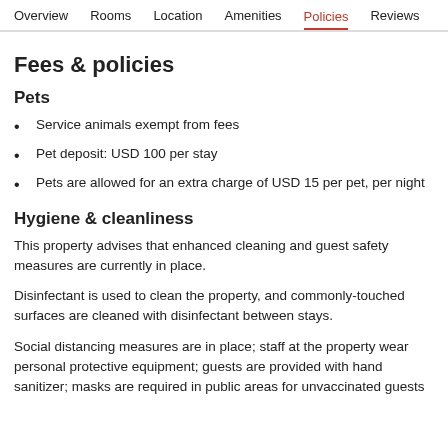Overview  Rooms  Location  Amenities  Policies  Reviews
Fees & policies
Pets
Service animals exempt from fees
Pet deposit: USD 100 per stay
Pets are allowed for an extra charge of USD 15 per pet, per night
Hygiene & cleanliness
This property advises that enhanced cleaning and guest safety measures are currently in place.
Disinfectant is used to clean the property, and commonly-touched surfaces are cleaned with disinfectant between stays.
Social distancing measures are in place; staff at the property wear personal protective equipment; guests are provided with hand sanitizer; masks are required in public areas for unvaccinated guests